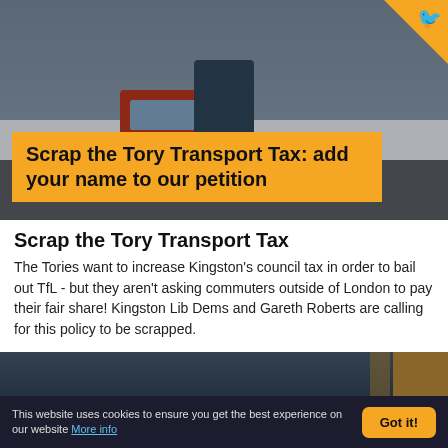[Figure (photo): A man in a dark suit standing at a bus stop on a busy street with a red London double-decker bus in the background. A Lib Dem bird logo is visible in the top right corner.]
Scrap the Tory Transport Tax: add your name to our petition
Scrap the Tory Transport Tax
The Tories want to increase Kingston's council tax in order to bail out TfL - but they aren't asking commuters outside of London to pay their fair share! Kingston Lib Dems and Gareth Roberts are calling for this policy to be scrapped.
[Figure (photo): Partial view of a street scene at the bottom of the page, partially obscured.]
This website uses cookies to ensure you get the best experience on our website More info